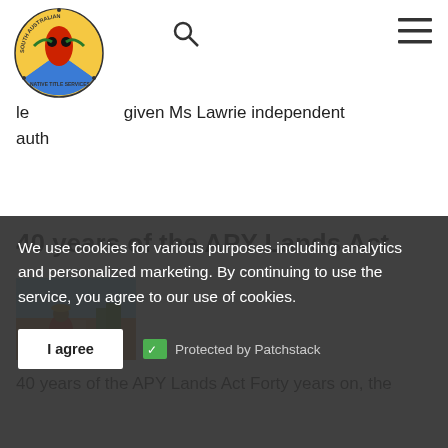[Figure (logo): South Australian Native Title Services circular logo with Indigenous figure design]
le ... given Ms Lawrie independent auth...
40 years of the APY Lands Act
[Figure (photo): Photo of a person in a red shirt on an outback road]
40 years of the APY Lands Act Forty years on, the Act 1981 remains unprecedented in Australian lands rights history. Initially called the Pitjantjatjara Land Rights Act, it gave traditional owners inalienable freehold title to their land, the far...
We use cookies for various purposes including analytics and personalized marketing. By continuing to use the service, you agree to our use of cookies.
I agree
Protected by Patchstack